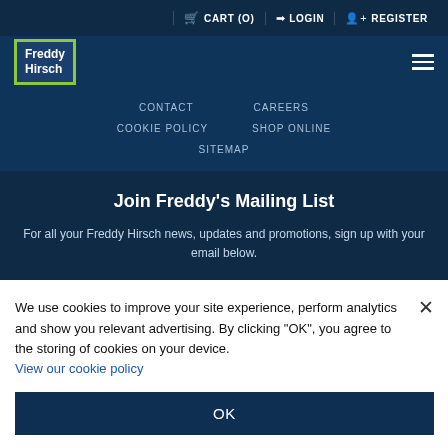CART (0)  LOGIN  REGISTER
[Figure (logo): Freddy Hirsch logo in green-bordered dark blue box]
CONTACT
CAREERS
COOKIE POLICY
SHOP ONLINE
SITEMAP
Join Freddy's Mailing List
For all your Freddy Hirsch news, updates and promotions, sign up with your email below.
We use cookies to improve your site experience, perform analytics and show you relevant advertising. By clicking “OK”, you agree to the storing of cookies on your device.
View our cookie policy
OK